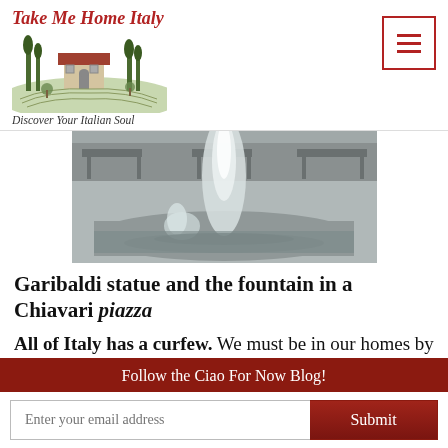Take Me Home Italy — Discover Your Italian Soul
[Figure (photo): Fountain in a Chiavari piazza, water spraying up, benches visible in the background, grayscale/muted tones]
Garibaldi statue and the fountain in a Chiavari piazza
All of Italy has a curfew. We must be in our homes by 10pm and until 5am, unless your
Follow the Ciao For Now Blog!
Enter your email address  Submit